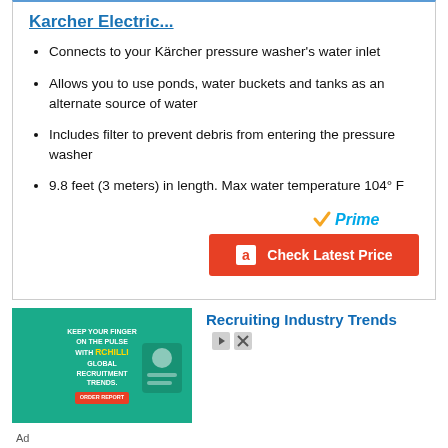Karcher Electric...
Connects to your Kärcher pressure washer's water inlet
Allows you to use ponds, water buckets and tanks as an alternate source of water
Includes filter to prevent debris from entering the pressure washer
9.8 feet (3 meters) in length. Max water temperature 104° F
[Figure (logo): Amazon Prime badge with orange checkmark and blue italic 'Prime' text]
[Figure (other): Red 'Check Latest Price' button with Amazon 'a' logo]
[Figure (other): Advertisement banner: green background with RChilli Global Recruitment Trends text and illustration, beside 'Recruiting Industry Trends' text with ad controls]
Ad